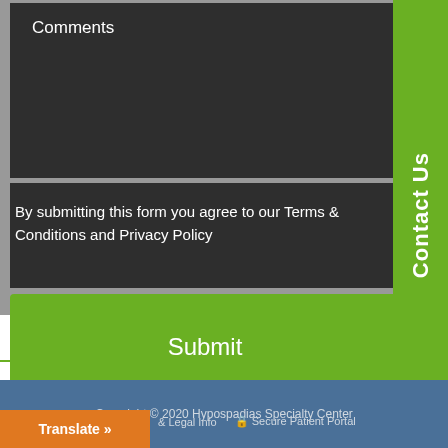Comments
By submitting this form you agree to our Terms & Conditions and Privacy Policy
Submit
Contact Us
Copyright © 2020 Hypospadias Specialty Center
Translate »
& Legal Info
🔒 Secure Patient Portal